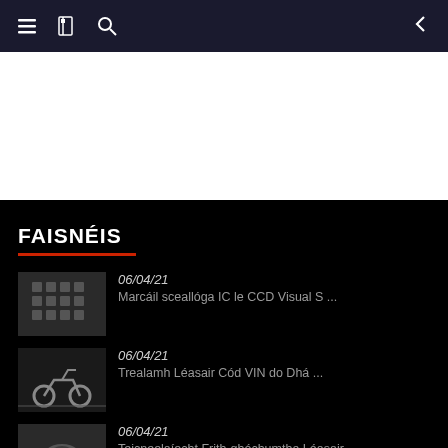Navigation bar with menu, book, search icons and back arrow
[Figure (photo): White banner/advertisement section]
FAISNÉIS
06/04/21 — Marcáil sceallóga IC le CCD Visual S ...
06/04/21 — Trealamh Léasair Cód VIN do Dhá ...
06/04/21 — Teicneolaíocht Frith-ghóchumtha Léasair ...